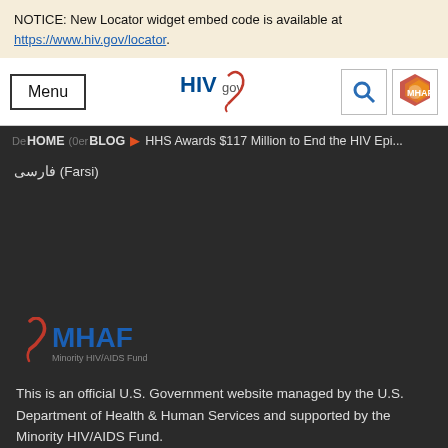NOTICE: New Locator widget embed code is available at https://www.hiv.gov/locator.
[Figure (screenshot): HIV.gov navigation bar with Menu button, HIV.gov logo, search icon, and MHAF colorful hexagon icon]
De HOME (0er BLOG ▶ HHS Awards $117 Million to End the HIV Epi...
فارسی (Farsi)
[Figure (logo): MHAF - Minority HIV/AIDS Fund logo with red ribbon icon and blue MHAF text]
This is an official U.S. Government website managed by the U.S. Department of Health & Human Services and supported by the Minority HIV/AIDS Fund.